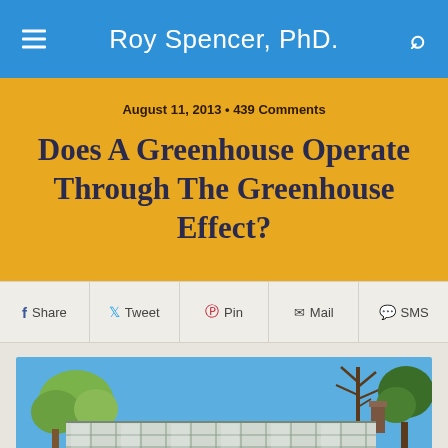Roy Spencer, PhD.
August 11, 2013 • 439 Comments
Does A Greenhouse Operate Through The Greenhouse Effect?
Share  Tweet  Pin  Mail  SMS
[Figure (photo): Photograph of a greenhouse with glass/polycarbonate roof panels visible in the foreground, trees in the background against a blue sky]